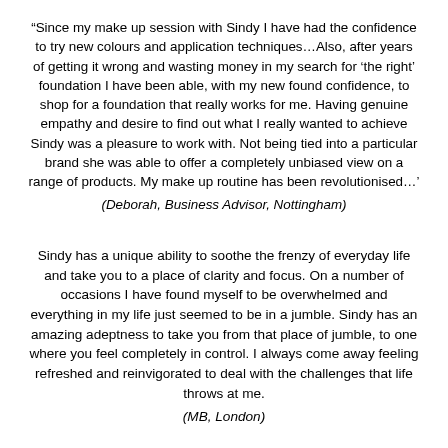“Since my make up session with Sindy I have had the confidence to try new colours and application techniques…Also, after years of getting it wrong and wasting money in my search for ‘the right’ foundation I have been able, with my new found confidence, to shop for a foundation that really works for me. Having genuine empathy and desire to find out what I really wanted to achieve Sindy was a pleasure to work with. Not being tied into a particular brand she was able to offer a completely unbiased view on a range of products. My make up routine has been revolutionised…’
(Deborah, Business Advisor, Nottingham)
Sindy has a unique ability to soothe the frenzy of everyday life and take you to a place of clarity and focus. On a number of occasions I have found myself to be overwhelmed and everything in my life just seemed to be in a jumble. Sindy has an amazing adeptness to take you from that place of jumble, to one where you feel completely in control. I always come away feeling refreshed and reinvigorated to deal with the challenges that life throws at me.
(MB, London)
Sindy’s gentle approach to coaching … allowed me to explore my inner-self with ease and freedom (and) added a safe environment in